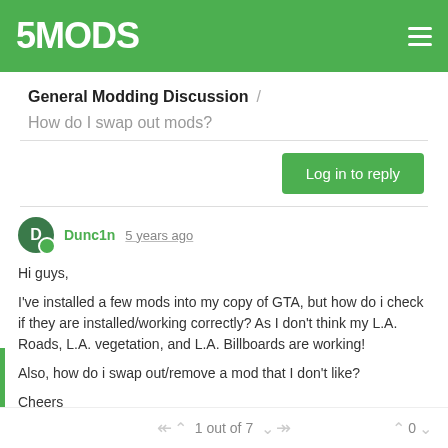5MODS
General Modding Discussion / How do I swap out mods?
Log in to reply
Dunc1n 5 years ago
Hi guys,
I've installed a few mods into my copy of GTA, but how do i check if they are installed/working correctly? As I don't think my L.A. Roads, L.A. vegetation, and L.A. Billboards are working!
Also, how do i swap out/remove a mod that I don't like?
Cheers
1 out of 7